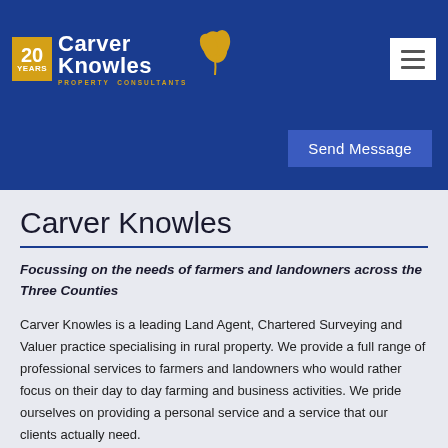Carver Knowles - Property Consultants - 20 Years
Send Message
Carver Knowles
Focussing on the needs of farmers and landowners across the Three Counties
Carver Knowles is a leading Land Agent, Chartered Surveying and Valuer practice specialising in rural property. We provide a full range of professional services to farmers and landowners who would rather focus on their day to day farming and business activities. We pride ourselves on providing a personal service and a service that our clients actually need.
☎ 01684 853 400
✉ enquiries@fts.carverknowles.co.uk